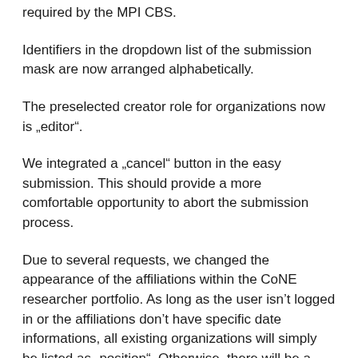required by the MPI CBS.
Identifiers in the dropdown list of the submission mask are now arranged alphabetically.
The preselected creator role for organizations now is „editor".
We integrated a „cancel" button in the easy submission. This should provide a more comfortable opportunity to abort the submission process.
Due to several requests, we changed the appearance of the affiliations within the CoNE researcher portfolio. As long as the user isn't logged in or the affiliations don't have specific date informations, all existing organizations will simply be listed as „position". Otherwise, there will be a distinction between „former" and „current position".